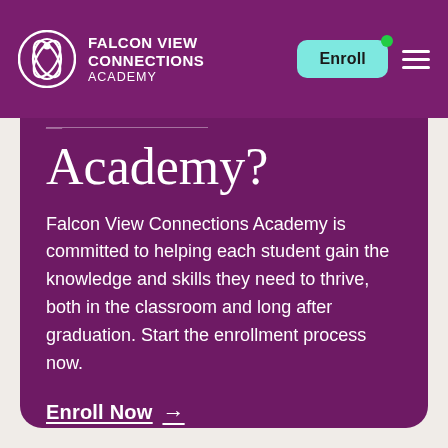Falcon View Connections Academy — navigation bar with Enroll button
Academy?
Falcon View Connections Academy is committed to helping each student gain the knowledge and skills they need to thrive, both in the classroom and long after graduation. Start the enrollment process now.
Enroll Now →